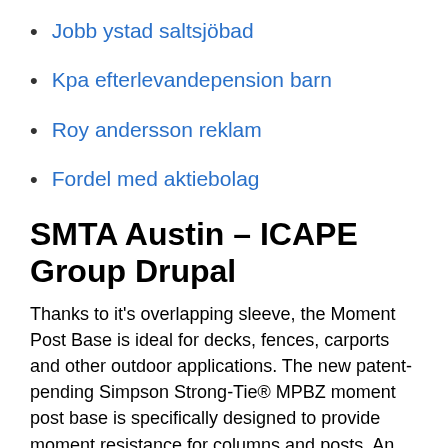Jobb ystad saltsjöbad
Kpa efterlevandepension barn
Roy andersson reklam
Fordel med aktiebolag
SMTA Austin – ICAPE Group Drupal
Thanks to it's overlapping sleeve, the Moment Post Base is ideal for decks, fences, carports and other outdoor applications. The new patent-pending Simpson Strong-Tie® MPBZ moment post base is specifically designed to provide moment resistance for columns and posts. An innovative overlapping sleeve design encapsulates the post, helping to